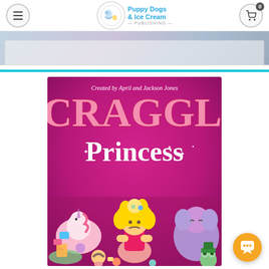Puppy Dogs & Ice Cream Publishing
[Figure (photo): Partial image strip visible at top of page, showing muted blue-purple tones, appears to be a book cover or banner image]
[Figure (illustration): Book cover for 'Scraggle Princess' created by April and Jackson Jones. Magenta/pink background with large title text. Center shows a messy-haired princess character with toys and characters around her including a unicorn on the left and a mouse/elephant on the right.]